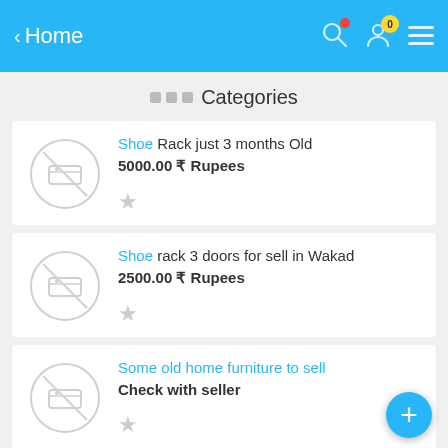< Home
... Categories
Shoe Rack just 3 months Old
5000.00 ₹ Rupees
Shoe rack 3 doors for sell in Wakad
2500.00 ₹ Rupees
Some old home furniture to sell
Check with seller